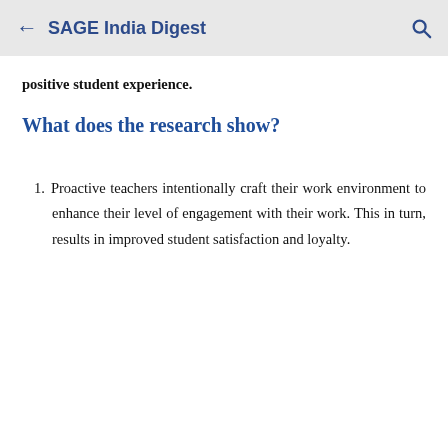← SAGE India Digest
positive student experience.
What does the research show?
Proactive teachers intentionally craft their work environment to enhance their level of engagement with their work. This in turn, results in improved student satisfaction and loyalty.